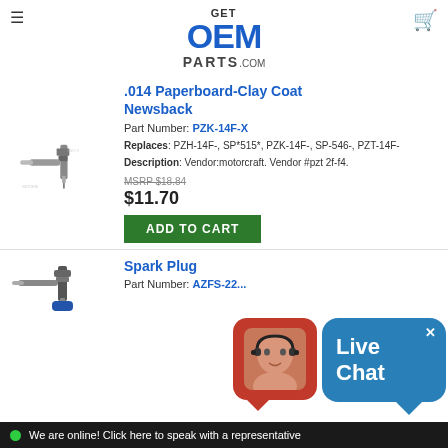Get OEM Parts .com
[Figure (photo): Spark plug / glow plug part image with watermark]
.014 Paperboard-Clay Coat Newsback
Part Number: PZK-14F-X
Replaces: PZH-14F-, SP*515*, PZK-14F-, SP-546-, PZT-14F-
Description: Vendor:motorcraft. Vendor #pzt 2f-f4.
MSRP $18.84
$11.70
ADD TO CART
[Figure (photo): Second spark plug part image]
Spark Plug
Part Number: AZFS-22...
[Figure (screenshot): Live Chat overlay with agent photo, blue chat bubble, and online bar]
We are online! Click here to speak with a representative